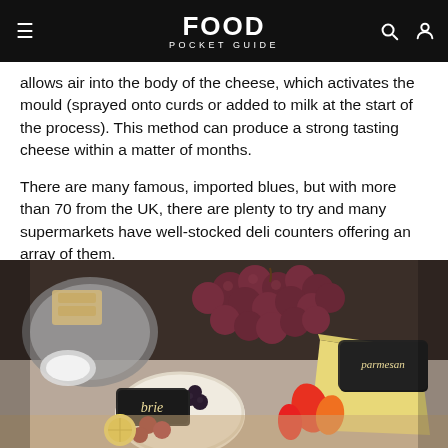FOOD POCKET GUIDE
allows air into the body of the cheese, which activates the mould (sprayed onto curds or added to milk at the start of the process). This method can produce a strong tasting cheese within a matter of months.
There are many famous, imported blues, but with more than 70 from the UK, there are plenty to try and many supermarkets have well-stocked deli counters offering an array of them.
TRY: Blue Stilton, Blue Cheshire, Shropshire Blue, Dovedale, Buxton Blue, Blacksticks Blue, Blue Leicester
[Figure (photo): A cheese board with various cheeses labeled with chalkboard signs reading 'brie' and 'parmesan', surrounded by red grapes, blackberries, red peppers, and crackers.]